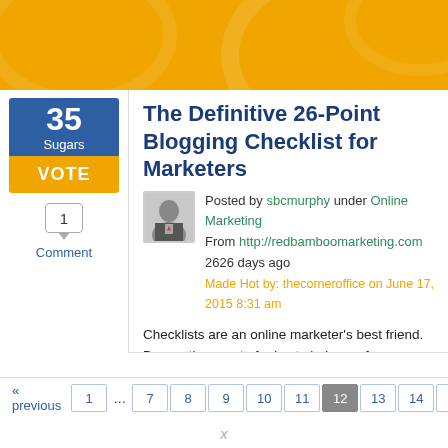Orange decorative header banner
35 Sugars
VOTE
1 Comment
The Definitive 26-Point Blogging Checklist for Marketers
Posted by sbcmurphy under Online Marketing
From http://redbamboomarketing.com 2626 days ago
Made Hot by: thecorneroffice on June 17, 2015 8:31 am
Checklists are an online marketer’s best friend. By creating a set of rules to help you focus, a good checklist can allow you to write more creatively, faster and with less editing.

And today, I’m pleased to share my personal blogging checklist with you. Th guidelines Read More
« previous  1  …  7  8  9  10  11  12  13  14  15  16